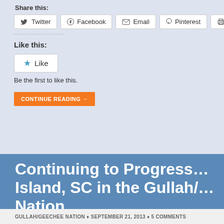Share this:
[Figure (screenshot): Social share buttons: Twitter, Facebook, Email, Pinterest, Print, LinkedIn]
Like this:
[Figure (screenshot): Like button with star icon]
Be the first to like this.
CONTINUE READING →
Continuing to Progress… Island, SC in the Gullah/… Nation
GULLAH/GEECHEE NATION ♦ SEPTEMBER 21, 2013 ♦ 5 COMMENTS